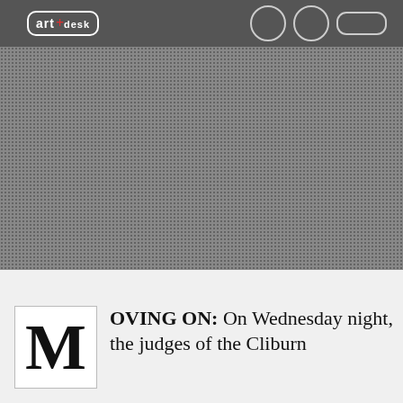[Figure (screenshot): Website header banner with halftone dot pattern background in gray tones. Shows navigation bar at top with 'art+desk' logo in white rounded rectangle on left, and circular/pill navigation elements on right.]
OVING ON: On Wednesday night, the judges of the Cliburn